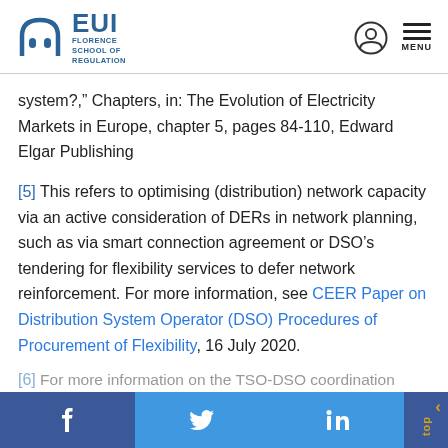EUI Florence School of Regulation
system?," Chapters, in: The Evolution of Electricity Markets in Europe, chapter 5, pages 84-110, Edward Elgar Publishing
[5] This refers to optimising (distribution) network capacity via an active consideration of DERs in network planning, such as via smart connection agreement or DSO's tendering for flexibility services to defer network reinforcement. For more information, see CEER Paper on Distribution System Operator (DSO) Procedures of Procurement of Flexibility, 16 July 2020.
[6] For more information on the TSO-DSO coordination
Facebook Twitter LinkedIn top